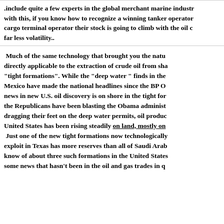.include quite a few experts in the global merchant marine industry with this, if you know how to recognize a winning tanker operator cargo terminal operator their stock is going to climb with the oil c far less volatility..
Much of the same technology that brought you the natural gas revolution is directly applicable to the extraction of crude oil from shale and other "tight formations". While the "deep water" finds in the Gulf of Mexico have made the national headlines since the BP Oil Spill, the real news in new U.S. oil discovery is on shore in the tight formations. While the Republicans have been blasting the Obama administration for dragging their feet on the deep water permits, oil production in the United States has been rising steadily on land, mostly on shale. Just one of the new tight formations now technologically feasible to exploit in Texas has more reserves than all of Saudi Arabia. We know of about three such formations in the United States... some news that hasn't been in the oil and gas trades in quite